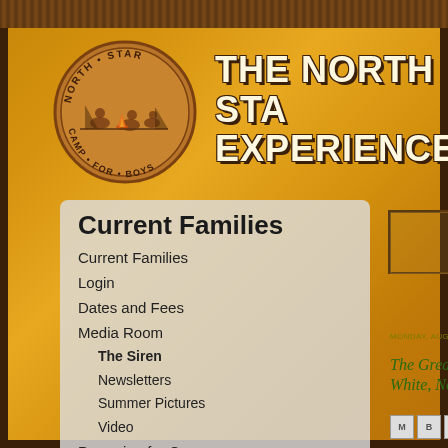[Figure (screenshot): North Star Camp for Boys website header with golden/amber wooden plank background, dark brown border frame, camp logo circle on left showing figures around campfire with text 'NORTH STAR CAMP FOR BOYS']
THE NORTH STAR EXPERIENCE
Current Families
Current Families
Login
Dates and Fees
Media Room
The Siren
Newsletters
Summer Pictures
Video
Preparing for Camp
MONDAY, AUGUST 1, 2011
The Great and G... White, North Sta...